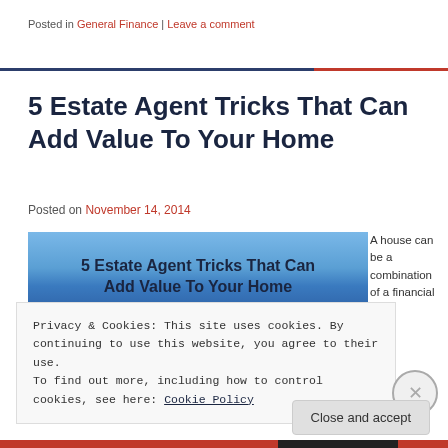Posted in General Finance | Leave a comment
5 Estate Agent Tricks That Can Add Value To Your Home
Posted on November 14, 2014
[Figure (illustration): Blog post header image showing blue sky background with text '5 Estate Agent Tricks That Can Add Value To Your Home']
A house can be a combination of a financial
Privacy & Cookies: This site uses cookies. By continuing to use this website, you agree to their use.
To find out more, including how to control cookies, see here: Cookie Policy
Close and accept